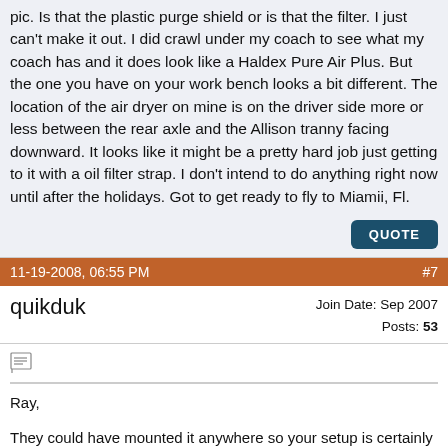pic. Is that the plastic purge shield or is that the filter. I just can't make it out. I did crawl under my coach to see what my coach has and it does look like a Haldex Pure Air Plus. But the one you have on your work bench looks a bit different. The location of the air dryer on mine is on the driver side more or less between the rear axle and the Allison tranny facing downward. It looks like it might be a pretty hard job just getting to it with a oil filter strap. I don't intend to do anything right now until after the holidays. Got to get ready to fly to Miamii, Fl.
11-19-2008, 06:55 PM  #7
quikduk  Join Date: Sep 2007  Posts: 53
Ray,
They could have mounted it anywhere so your setup is certainly possible plus you are CAT powered so your compressor may be on the DS side which would explain the change.
On the lower photo of the dryer, the large round black canister is the